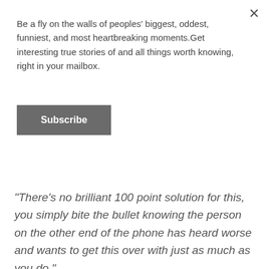Be a fly on the walls of peoples' biggest, oddest, funniest, and most heartbreaking moments.Get interesting true stories of and all things worth knowing, right in your mailbox.
Subscribe
"There's no brilliant 100 point solution for this, you simply bite the bullet knowing the person on the other end of the phone has heard worse and wants to get this over with just as much as you do."
- SquilliamFancySon95
"That's right."
"I've said the dumbest sh*t to customer service